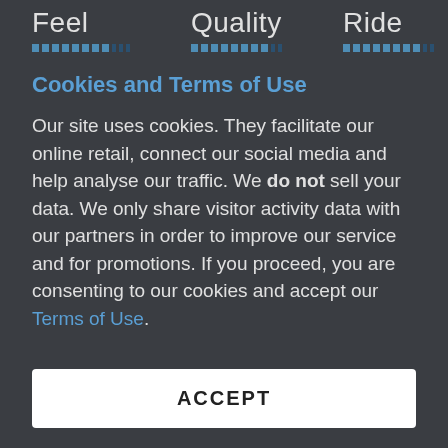Feel   Quality   Ride
Cookies and Terms of Use
Our site uses cookies. They facilitate our online retail, connect our social media and help analyse our traffic. We do not sell your data. We only share visitor activity data with our partners in order to improve our service and for promotions. If you proceed, you are consenting to our cookies and accept our Terms of Use.
ACCEPT